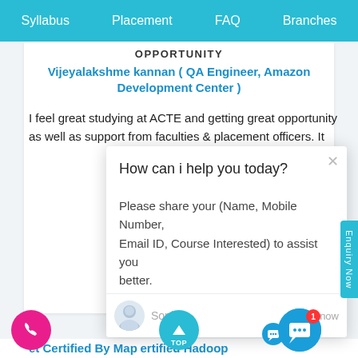Syllabus  Placement  FAQ  Branches
OPPORTUNITY
Vijeyalakshme kannan ( QA Engineer, Amazon Development Center )
I feel great studying at ACTE and getting great opportunity as well as support from faculties & placement officers. It
[Figure (screenshot): Chat popup overlay with message: How can i help you today? Please share your (Name, Mobile Number, Email ID, Course Interested) to assist you better. Sender name Sophia, just now.]
Get Certified By MapR Certified Hadoop Developer (MCHD) & Industry Recognized